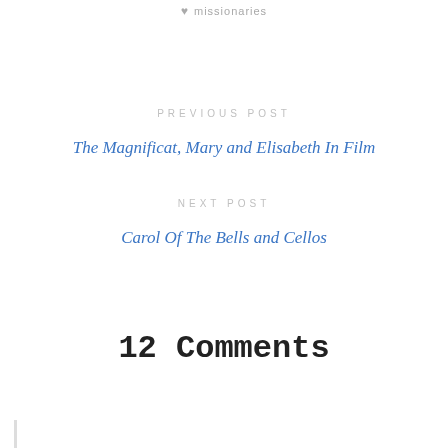missionaries
PREVIOUS POST
The Magnificat, Mary and Elisabeth In Film
NEXT POST
Carol Of The Bells and Cellos
12 Comments